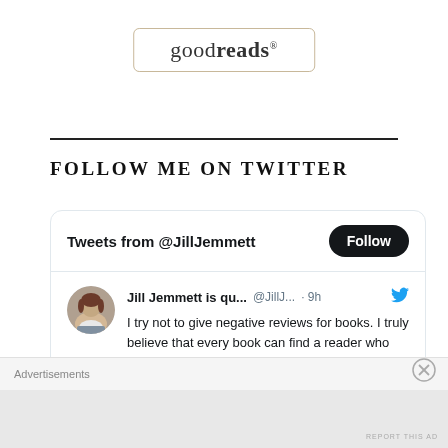[Figure (logo): Goodreads logo in a rounded rectangle border — text reads 'goodreads' with bold 'reads' portion]
FOLLOW ME ON TWITTER
[Figure (screenshot): Twitter widget card showing 'Tweets from @JillJemmett' with a Follow button. A tweet from Jill Jemmett is qu... @JillJ... · 9h reads: I try not to give negative reviews for books. I truly believe that every book can find a reader who loves it. Those days, if it's going to be less than 3 [cut off]]
Advertisements